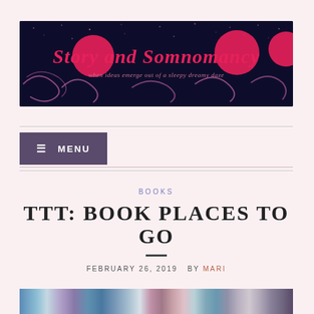[Figure (illustration): Blog header banner: dark navy background with pink swirls, moons/circles, and cursive text reading 'Story and Somnomancy — when ideas emerge out of a sleepy dreamy daze']
MENU
TTT: BOOK PLACES TO GO
BOOKS
FEBRUARY 26, 2019  BY MARI
[Figure (photo): Bottom strip showing a row of colorful book spines on a shelf]